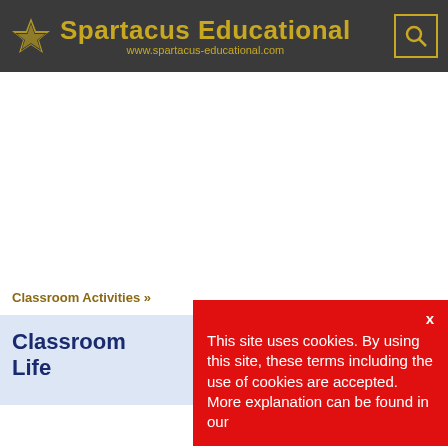Spartacus Educational
www.spartacus-educational.com
Classroom Activities »
Classroom Life
This site uses cookies. By using this site, these terms including the use of cookies are accepted. More explanation can be found in our
x